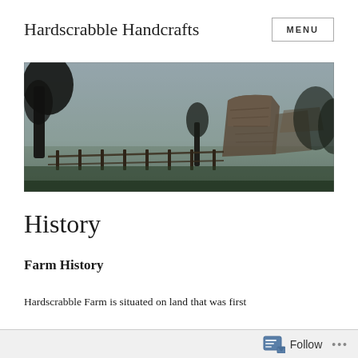Hardscrabble Handcrafts
[Figure (photo): Landscape photo of a foggy rural farm scene with a stone ruin, trees, grass fields, and a wooden fence in dim lighting.]
History
Farm History
Hardscrabble Farm is situated on land that was first
Follow ...